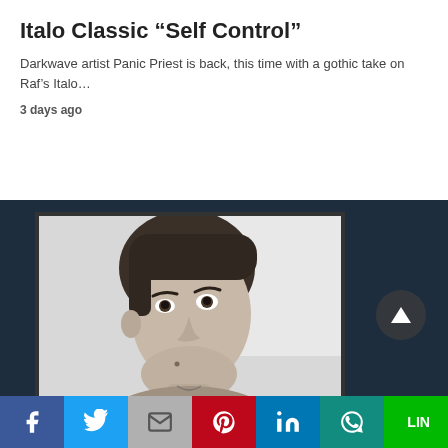Italo Classic “Self Control”
Darkwave artist Panic Priest is back, this time with a gothic take on Raf’s Italo…
3 days ago
[Figure (photo): Black and white portrait photo of a young man looking upward and to the right, wearing a knit sweater, framed with a dark border on a dark navy background.]
Facebook | Twitter | Mail | Pinterest | LinkedIn | WhatsApp | Line share buttons